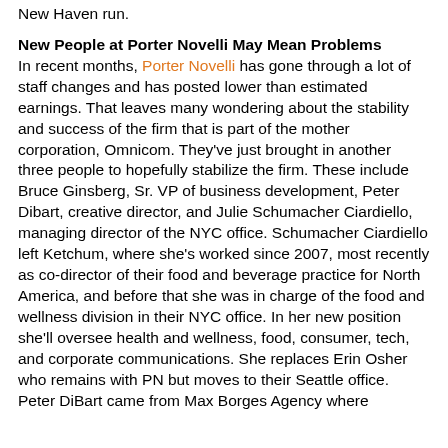New Haven run.
New People at Porter Novelli May Mean Problems
In recent months, Porter Novelli has gone through a lot of staff changes and has posted lower than estimated earnings. That leaves many wondering about the stability and success of the firm that is part of the mother corporation, Omnicom. They've just brought in another three people to hopefully stabilize the firm. These include Bruce Ginsberg, Sr. VP of business development, Peter Dibart, creative director, and Julie Schumacher Ciardiello, managing director of the NYC office. Schumacher Ciardiello left Ketchum, where she's worked since 2007, most recently as co-director of their food and beverage practice for North America, and before that she was in charge of the food and wellness division in their NYC office. In her new position she'll oversee health and wellness, food, consumer, tech, and corporate communications. She replaces Erin Osher who remains with PN but moves to their Seattle office. Peter DiBart came from Max Borges Agency where